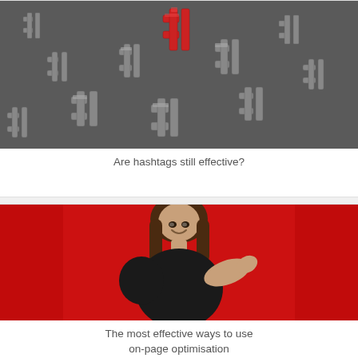[Figure (photo): Pile of grey hashtag symbols with one red hashtag on top, viewed from above]
Are hashtags still effective?
[Figure (photo): Young woman in black top smiling and pointing to the right with red background]
The most effective ways to use on-page optimisation